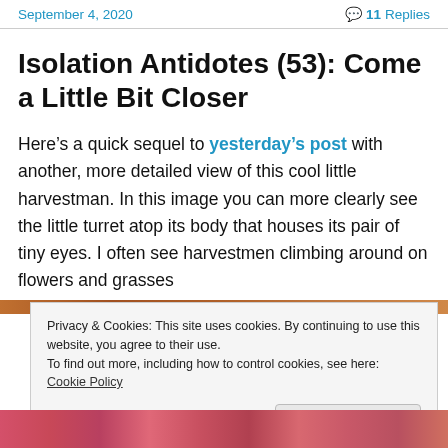September 4, 2020   💬 11 Replies
Isolation Antidotes (53): Come a Little Bit Closer
Here's a quick sequel to yesterday's post with another, more detailed view of this cool little harvestman. In this image you can more clearly see the little turret atop its body that houses its pair of tiny eyes. I often see harvestmen climbing around on flowers and grasses
Privacy & Cookies: This site uses cookies. By continuing to use this website, you agree to their use.
To find out more, including how to control cookies, see here: Cookie Policy
[Figure (photo): Strip of colorful flower photo at bottom of page]